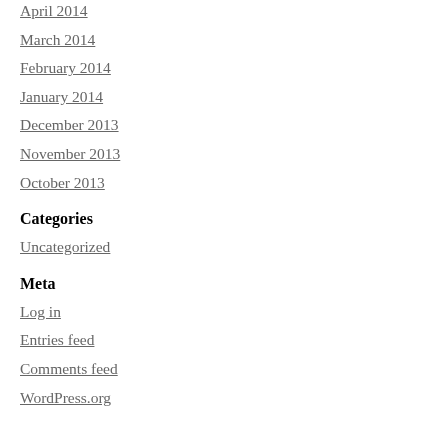April 2014
March 2014
February 2014
January 2014
December 2013
November 2013
October 2013
Categories
Uncategorized
Meta
Log in
Entries feed
Comments feed
WordPress.org